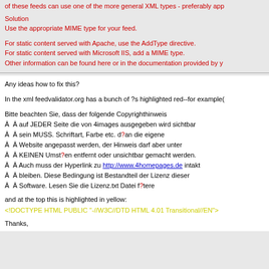of these feeds can use one of the more general XML types - preferably app
Solution
Use the appropriate MIME type for your feed.
For static content served with Apache, use the AddType directive.
For static content served with Microsoft IIS, add a MIME type.
Other information can be found here or in the documentation provided by y
Any ideas how to fix this?
In the xml feedvalidator.org has a bunch of ?s highlighted red--for example(
Bitte beachten Sie, dass der folgende Copyrighthinweis
Â Â auf JEDER Seite die von 4images ausgegeben wird sichtbar
Â Â sein MUSS. Schriftart, Farbe etc. d?an die eigene
Â Â Website angepasst werden, der Hinweis darf aber unter
Â Â KEINEN Umst?en entfernt oder unsichtbar gemacht werden.
Â Â Auch muss der Hyperlink zu http://www.4homepages.de intakt
Â Â bleiben. Diese Bedingung ist Bestandteil der Lizenz dieser
Â Â Software. Lesen Sie die Lizenz.txt Datei f?tere
and at the top this is highlighted in yellow:
<!DOCTYPE HTML PUBLIC "-//W3C//DTD HTML 4.01 Transitional//EN">
Thanks,